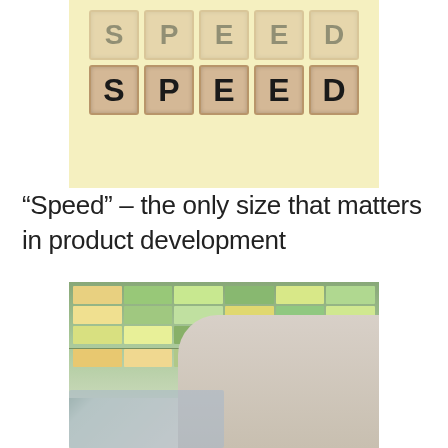[Figure (photo): Scrabble tiles spelling 'SPEED' (and partially visible row above) on a yellow background]
“Speed” – the only size that matters in product development
[Figure (photo): An older man leaning on a shopping cart in a grocery store aisle filled with products on shelves]